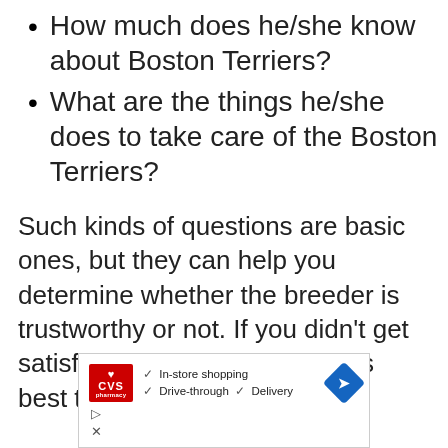How much does he/she know about Boston Terriers?
What are the things he/she does to take care of the Boston Terriers?
Such kinds of questions are basic ones, but they can help you determine whether the breeder is trustworthy or not. If you didn't get satisfied with your answers, it's best to pick another option.
[Figure (screenshot): CVS Pharmacy advertisement showing checkmarks for In-store shopping, Drive-through, and Delivery services with a blue directional arrow icon.]